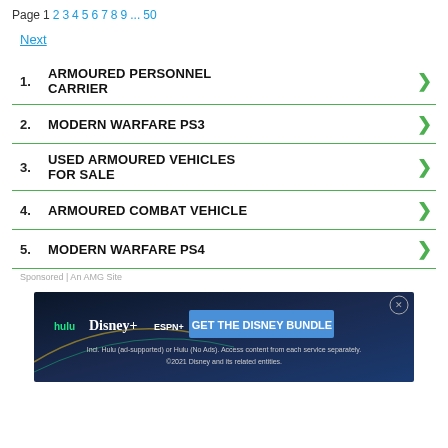Page 1 2 3 4 5 6 7 8 9 ... 50
Next
1. ARMOURED PERSONNEL CARRIER
2. MODERN WARFARE PS3
3. USED ARMOURED VEHICLES FOR SALE
4. ARMOURED COMBAT VEHICLE
5. MODERN WARFARE PS4
Sponsored | An AMG Site
[Figure (infographic): Disney Bundle advertisement banner featuring Hulu, Disney+, ESPN+ logos and 'GET THE DISNEY BUNDLE' CTA button. Fine print: Incl. Hulu (ad-supported) or Hulu (No Ads). Access content from each service separately. ©2021 Disney and its related entities.]